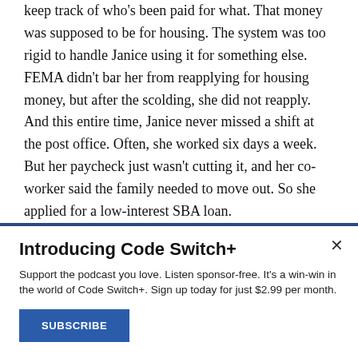keep track of who's been paid for what. That money was supposed to be for housing. The system was too rigid to handle Janice using it for something else. FEMA didn't bar her from reapplying for housing money, but after the scolding, she did not reapply. And this entire time, Janice never missed a shift at the post office. Often, she worked six days a week. But her paycheck just wasn't cutting it, and her co-worker said the family needed to move out. So she applied for a low-interest SBA loan.
Introducing Code Switch+
Support the podcast you love. Listen sponsor-free. It's a win-win in the world of Code Switch+. Sign up today for just $2.99 per month.
SUBSCRIBE